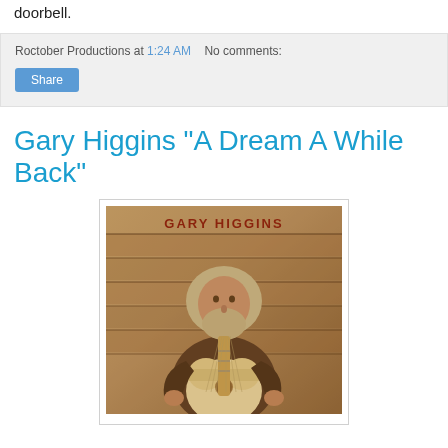doorbell.
Roctober Productions at 1:24 AM    No comments:
Share
Gary Higgins "A Dream A While Back"
[Figure (photo): Album cover photo of Gary Higgins, a bearded man with long curly gray hair playing an acoustic guitar, shown in sepia tone against a wooden plank background. Text 'GARY HIGGINS' appears at the top of the image.]